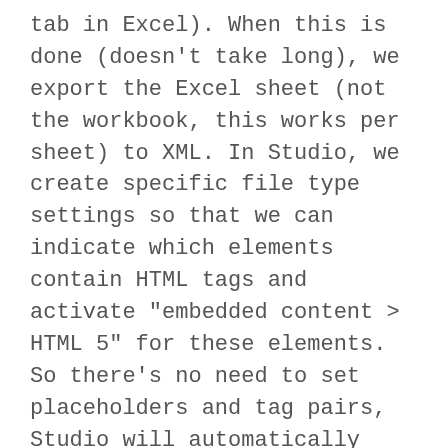tab in Excel). When this is done (doesn't take long), we export the Excel sheet (not the workbook, this works per sheet) to XML. In Studio, we create specific file type settings so that we can indicate which elements contain HTML tags and activate "embedded content > HTML 5" for these elements. So there's no need to set placeholders and tag pairs, Studio will automatically recognize all HTML tags and convert them accordingly. Afterwards you just need to import the translated XML file in the Excel file (using the Developer tab).
We have detailed instructions for this procedure. Let me know if you are interested and I'll send them to you (too long to post them here...).
Best regards,
Lieven